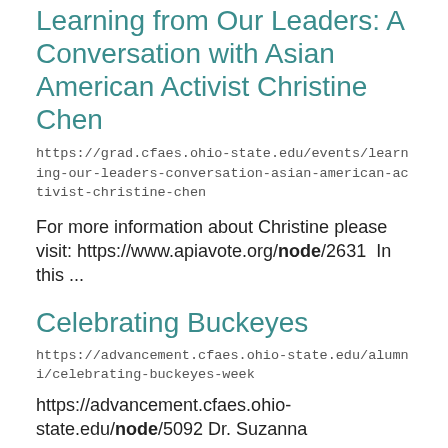Learning from Our Leaders: A Conversation with Asian American Activist Christine Chen
https://grad.cfaes.ohio-state.edu/events/learning-our-leaders-conversation-asian-american-activist-christine-chen
For more information about Christine please visit: https://www.apiavote.org/node/2631  In this ...
Celebrating Buckeyes
https://advancement.cfaes.ohio-state.edu/alumni/celebrating-buckeyes-week
https://advancement.cfaes.ohio-state.edu/node/5092 Dr. Suzanna